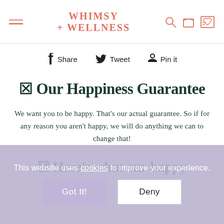Whimsy + Wellness
Share  Tweet  Pin it
☒ Our Happiness Guarantee
We want you to be happy. That's our actual guarantee. So if for any reason you aren't happy, we will do anything we can to change that!
☒ Here's what our happy
This website uses cookies to improve your experience.
Got It!  Deny